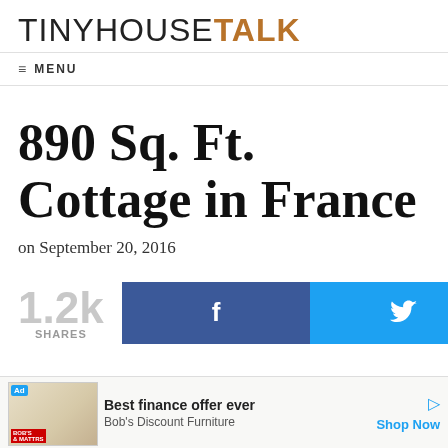TINYHOUSETALK
≡ MENU
890 Sq. Ft. Cottage in France
on September 20, 2016
1.2k SHARES
[Figure (other): Facebook share button (dark blue with 'f' icon) and Twitter share button (light blue with bird icon)]
[Figure (other): Advertisement bar: Ad badge, Bob's Discount Furniture ad image, text 'Best finance offer ever / Bob's Discount Furniture', 'Shop Now' link]